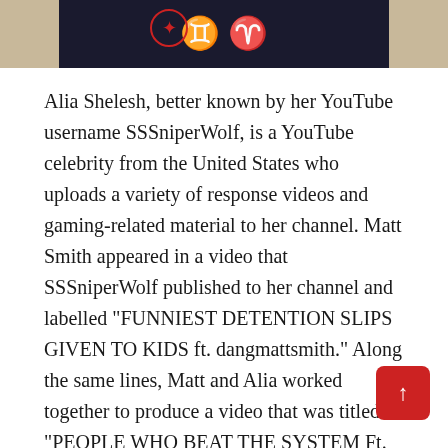[Figure (photo): Cropped photo showing a person wearing a dark navy/black shirt with red graphic designs including zodiac symbols]
Alia Shelesh, better known by her YouTube username SSSniperWolf, is a YouTube celebrity from the United States who uploads a variety of response videos and gaming-related material to her channel. Matt Smith appeared in a video that SSSniperWolf published to her channel and labelled “FUNNIEST DETENTION SLIPS GIVEN TO KIDS ft. dangmattsmith.” Along the same lines, Matt and Alia worked together to produce a video that was titled “PEOPLE WHO BEAT THE SYSTEM Ft. SSSniperWolf.”
Although it is admirable that Matt Smith has been able to build a successful career on YouTube at such a young age, it is even more impressive that he has also been able to branch out into the realm of acting. On the...